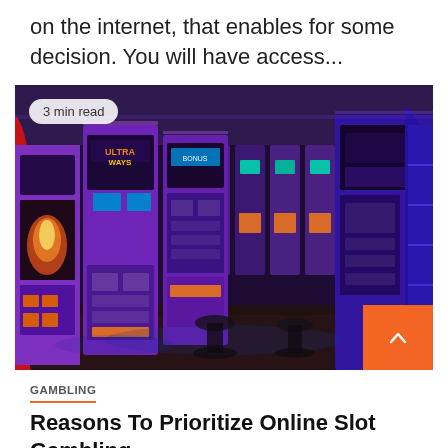on the internet, that enables for some decision. You will have access...
[Figure (photo): Interior of a casino showing rows of slot machines with purple and blue LED lighting, fisheye lens perspective. Badge overlay reads '3 min read'.]
GAMBLING
Reasons To Prioritize Online Slot Gambling